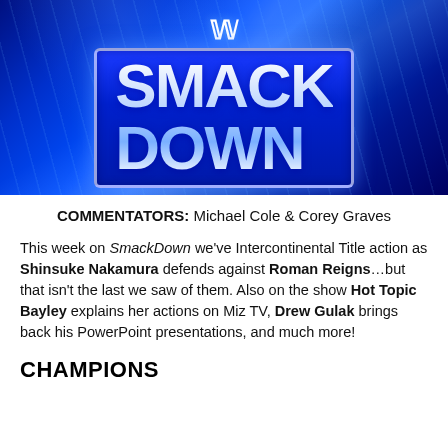[Figure (logo): WWE SmackDown logo on a blue illuminated background with light rays. The WWE 'W' logo appears at the top, and 'SMACK DOWN' in large bold silver-blue letters on a blue box with white border.]
COMMENTATORS: Michael Cole & Corey Graves
This week on SmackDown we've Intercontinental Title action as Shinsuke Nakamura defends against Roman Reigns…but that isn't the last we saw of them. Also on the show Hot Topic Bayley explains her actions on Miz TV, Drew Gulak brings back his PowerPoint presentations, and much more!
CHAMPIONS